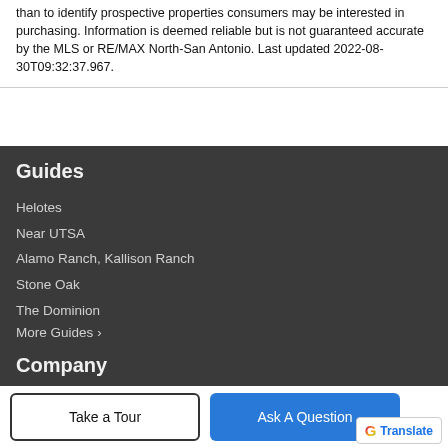than to identify prospective properties consumers may be interested in purchasing. Information is deemed reliable but is not guaranteed accurate by the MLS or RE/MAX North-San Antonio. Last updated 2022-08-30T09:32:37.967.
Guides
Helotes
Near UTSA
Alamo Ranch, Kallison Ranch
Stone Oak
The Dominion
More Guides ›
Company
Meet Our Agents